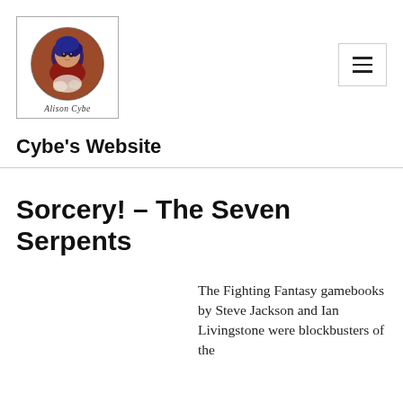[Figure (logo): Alison Cybe website logo: circular portrait illustration of an anime-style character with blue hair, framed in a square border with the text 'Alison Cybe' in script below.]
Cybe's Website
Sorcery! – The Seven Serpents
The Fighting Fantasy gamebooks by Steve Jackson and Ian Livingstone were blockbusters of the